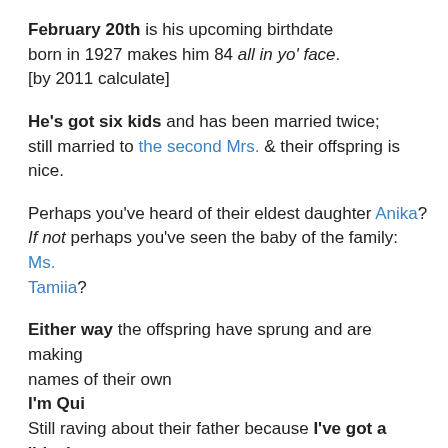February 20th is his upcoming birthdate born in 1927 makes him 84 all in yo' face. [by 2011 calculate]
He's got six kids and has been married twice; still married to the second Mrs. & their offspring is nice.
Perhaps you've heard of their eldest daughter Anika? If not perhaps you've seen the baby of the family: Ms. Tamiia?
Either way the offspring have sprung and are making names of their own I'm Qui Still raving about their father because I've got a 'black intellect' jones. 🙂